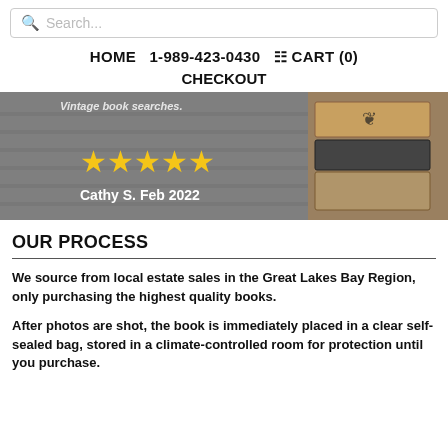Search...
HOME   1-989-423-0430   CART (0)   CHECKOUT
[Figure (photo): A background image of vintage books on shelves with stacked decorative books on the right side. Overlaid text shows five gold stars and the reviewer name 'Cathy S. Feb 2022'.]
OUR PROCESS
We source from local estate sales in the Great Lakes Bay Region, only purchasing the highest quality books.
After photos are shot, the book is immediately placed in a clear self-sealed bag, stored in a climate-controlled room for protection until you purchase.